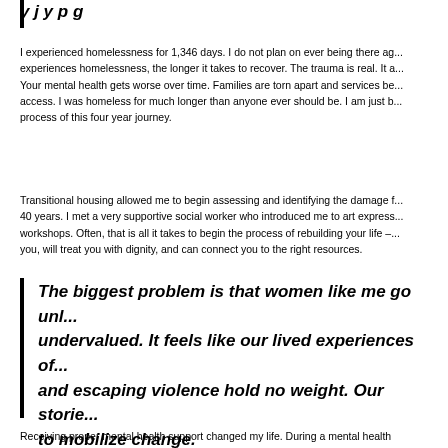I experienced homelessness for 1,346 days. I do not plan on ever being there again. The longer one experiences homelessness, the longer it takes to recover. The trauma is real. It accumulates over time. Your mental health gets worse over time. Families are torn apart and services become harder and harder to access. I was homeless for much longer than anyone ever should be. I am just beginning to process of this four year journey.
Transitional housing allowed me to begin assessing and identifying the damage from this traumatic experience of 40 years. I met a very supportive social worker who introduced me to art expression, journaling, and writing workshops. Often, that is all it takes to begin the process of rebuilding your life – someone who believes in you, will treat you with dignity, and can connect you to the right resources.
The biggest problem is that women like me go unheard and undervalued. It feels like our lived experiences of homelessness and escaping violence hold no weight. Our stories have the power to mobilize change.
Receiving proper mental health support changed my life. During a mental health